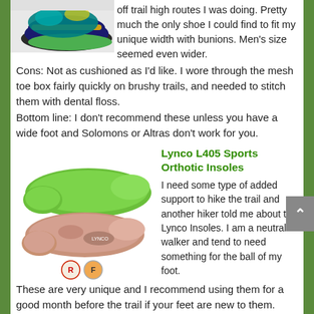[Figure (photo): Partial image of a hiking shoe with colorful design (green, yellow, black) cut off at top]
off trail high routes I was doing. Pretty much the only shoe I could find to fit my unique width with bunions. Men's size seemed even wider.
Cons: Not as cushioned as I'd like. I wore through the mesh toe box fairly quickly on brushy trails, and needed to stitch them with dental floss.
Bottom line: I don't recommend these unless you have a wide foot and Solomons or Altras don't work for you.
[Figure (photo): Product photo of Lynco L405 Sports Orthotic Insoles - green bottom insole and peach/tan top insole shown side by side, with R and F badge labels below]
Lynco L405 Sports Orthotic Insoles
I need some type of added support to hike the trail and another hiker told me about the Lynco Insoles. I am a neutral walker and tend to need something for the ball of my foot. These are very unique and I recommend using them for a good month before the trail if your feet are new to them. They have a lump under the upper part of the arch of your foot. There are other styles for different needs. The unique form takes some getting